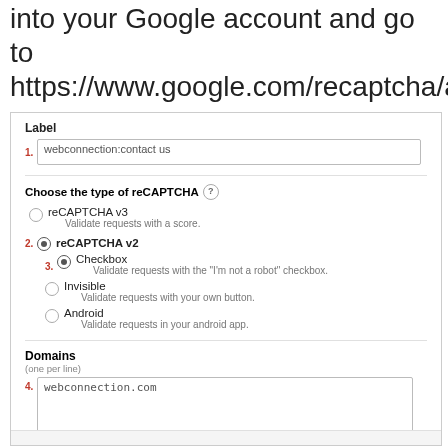into your Google account and go to https://www.google.com/recaptcha/admin#list
[Figure (screenshot): Google reCAPTCHA admin registration form showing: Label field with 'webconnection:contact us', Choose the type of reCAPTCHA section with reCAPTCHA v3 and reCAPTCHA v2 options (v2 selected), sub-options Checkbox (selected), Invisible, and Android, then Domains section with 'webconnection.com' entered. Steps numbered 1-4 in red.]